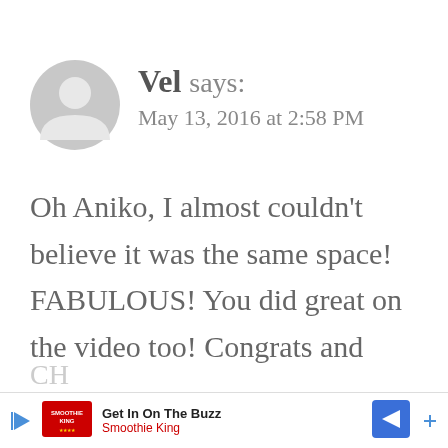[Figure (illustration): Gray circular user avatar icon with a generic person silhouette]
Vel says:
May 13, 2016 at 2:58 PM
Oh Aniko, I almost couldn't believe it was the same space! FABULOUS! You did great on the video too! Congrats and
[Figure (screenshot): Advertisement banner: Get In On The Buzz - Smoothie King, with play button, Smoothie King logo, and blue diamond arrow button]